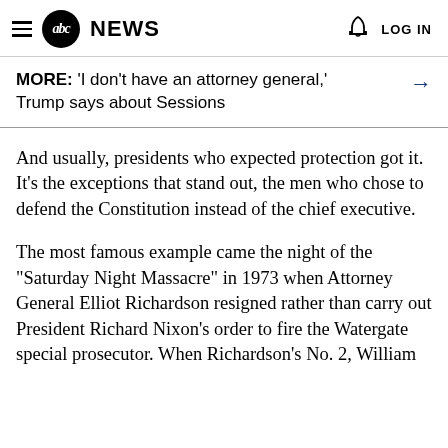abc NEWS  LOG IN
MORE: 'I don't have an attorney general,' Trump says about Sessions →
And usually, presidents who expected protection got it. It's the exceptions that stand out, the men who chose to defend the Constitution instead of the chief executive.
The most famous example came the night of the "Saturday Night Massacre" in 1973 when Attorney General Elliot Richardson resigned rather than carry out President Richard Nixon's order to fire the Watergate special prosecutor. When Richardson's No. 2, William